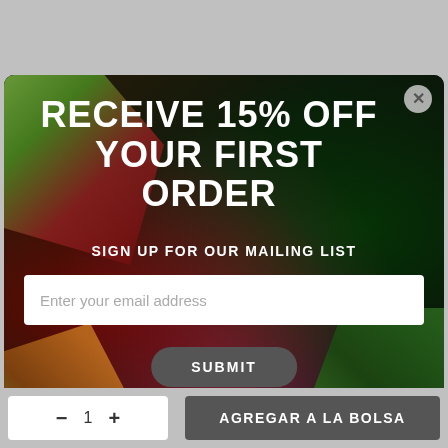[Figure (screenshot): E-commerce website popup modal with a tropical plant background. Modal shows a promotional offer to receive 15% off first order by signing up for mailing list. Contains email input field and Submit button. Below the modal is a grey page background showing part of a shopping interface with a quantity selector and 'AGREGAR A LA BOLSA' button.]
RECEIVE 15% OFF YOUR FIRST ORDER
SIGN UP FOR OUR MAILING LIST
Enter your email address
SUBMIT
AGREGAR A LA BOLSA